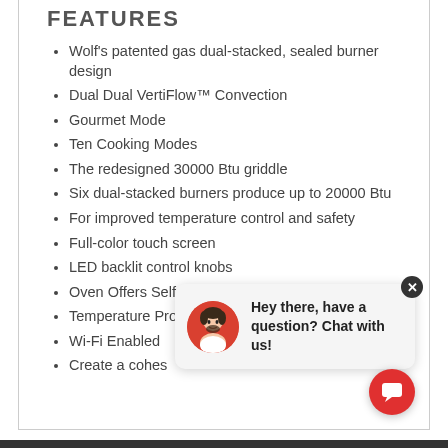FEATURES
Wolf's patented gas dual-stacked, sealed burner design
Dual Dual VertiFlow™ Convection
Gourmet Mode
Ten Cooking Modes
The redesigned 30000 Btu griddle
Six dual-stacked burners produce up to 20000 Btu
For improved temperature control and safety
Full-color touch screen
LED backlit control knobs
Oven Offers Self-Clean
Temperature Probe
Wi-Fi Enabled
Create a cohes…
Hey there, have a question? Chat with us!